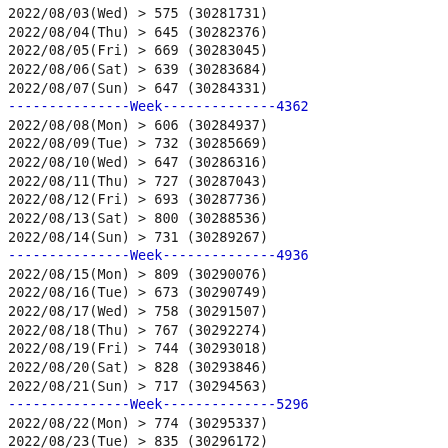2022/08/03(Wed) > 575 (30281731)
2022/08/04(Thu) > 645 (30282376)
2022/08/05(Fri) > 669 (30283045)
2022/08/06(Sat) > 639 (30283684)
2022/08/07(Sun) > 647 (30284331)
---------------Week--------------4362
2022/08/08(Mon) > 606 (30284937)
2022/08/09(Tue) > 732 (30285669)
2022/08/10(Wed) > 647 (30286316)
2022/08/11(Thu) > 727 (30287043)
2022/08/12(Fri) > 693 (30287736)
2022/08/13(Sat) > 800 (30288536)
2022/08/14(Sun) > 731 (30289267)
---------------Week--------------4936
2022/08/15(Mon) > 809 (30290076)
2022/08/16(Tue) > 673 (30290749)
2022/08/17(Wed) > 758 (30291507)
2022/08/18(Thu) > 767 (30292274)
2022/08/19(Fri) > 744 (30293018)
2022/08/20(Sat) > 828 (30293846)
2022/08/21(Sun) > 717 (30294563)
---------------Week--------------5296
2022/08/22(Mon) > 774 (30295337)
2022/08/23(Tue) > 835 (30296172)
2022/08/24(Wed) > 697 (30296869)
2022/08/25(Thu) > 707 (30297576)
2022/08/26(Fri) > 706 (30298282)
2022/08/27(Sat) > 559 (30298841)
2022/08/28(Sun) > 651 (30299492)
---------------Week--------------4929